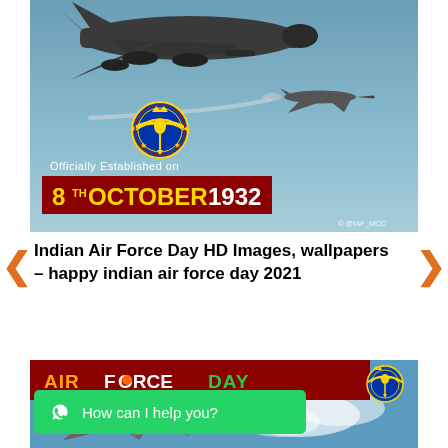[Figure (photo): Indian Air Force promotional image showing large transport aircraft at top and fighter jet with smoke trail in sky background. IAF emblem (golden eagle with blue ring) visible. Text overlay: 'Officially Established on' and '8TH OCTOBER 1932' in gold/white on dark red banner. Copyright © @IAF_MCC bottom right.]
Indian Air Force Day HD Images, wallpapers – happy indian air force day 2021
[Figure (photo): Indian Air Force Day image with dark red banner at top reading 'AIR FORCE DAY' in orange, white, and green text. IAF emblem in top right corner. Fighter jets visible below against blue sky with clouds.]
How can I help you?